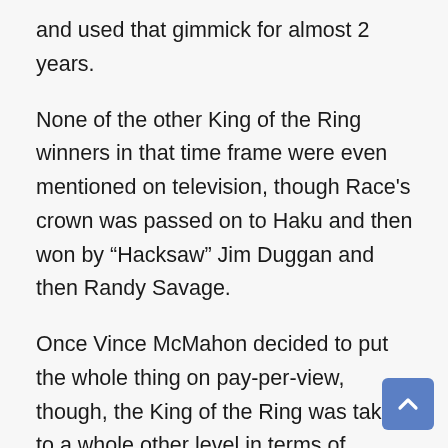and used that gimmick for almost 2 years.
None of the other King of the Ring winners in that time frame were even mentioned on television, though Race's crown was passed on to Haku and then won by “Hacksaw” Jim Duggan and then Randy Savage.
Once Vince McMahon decided to put the whole thing on pay-per-view, though, the King of the Ring was taken to a whole other level in terms of notoriety. Once the event ran its course as a pay-per-view in 2002, it sat dormant for 2 years before being brought back as a tournament on WWE television. It returns every few years to give a new wrestler the King moniker, and was most recently won by Baron Corbin in 2019.